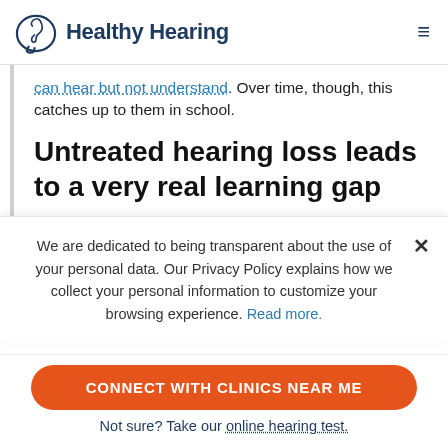Healthy Hearing
can hear but not understand. Over time, though, this catches up to them in school.
Untreated hearing loss leads to a very real learning gap
According to the American Speech-Language Hearing Association (ASHA), children who have mild to moderate
We are dedicated to being transparent about the use of your personal data. Our Privacy Policy explains how we collect your personal information to customize your browsing experience. Read more.
CONNECT WITH CLINICS NEAR ME
Not sure? Take our online hearing test.